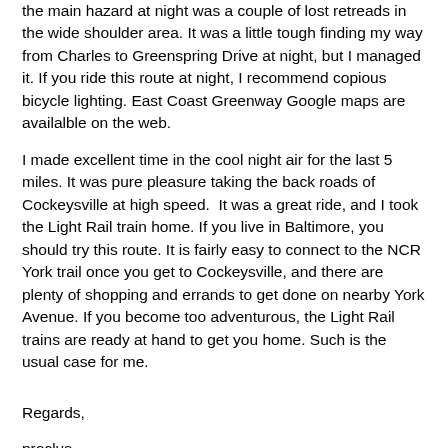the main hazard at night was a couple of lost retreads in the wide shoulder area. It was a little tough finding my way from Charles to Greenspring Drive at night, but I managed it. If you ride this route at night, I recommend copious bicycle lighting. East Coast Greenway Google maps are availalble on the web.
I made excellent time in the cool night air for the last 5 miles. It was pure pleasure taking the back roads of Cockeysville at high speed. It was a great ride, and I took the Light Rail train home. If you live in Baltimore, you should try this route. It is fairly easy to connect to the NCR York trail once you get to Cockeysville, and there are plenty of shopping and errands to get done on nearby York Avenue. If you become too adventurous, the Light Rail trains are ready at hand to get you home. Such is the usual case for me.
Regards,
proclus
http://www.gnu.darwin.org/